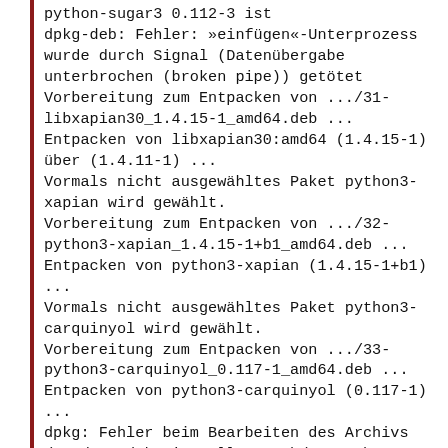python-sugar3 0.112-3 ist
dpkg-deb: Fehler: »einfügen«-Unterprozess wurde durch Signal (Datenübergabe unterbrochen (broken pipe)) getötet
Vorbereitung zum Entpacken von .../31-libxapian30_1.4.15-1_amd64.deb ...
Entpacken von libxapian30:amd64 (1.4.15-1) über (1.4.11-1) ...
Vormals nicht ausgewähltes Paket python3-xapian wird gewählt.
Vorbereitung zum Entpacken von .../32-python3-xapian_1.4.15-1+b1_amd64.deb ...
Entpacken von python3-xapian (1.4.15-1+b1) ...
Vormals nicht ausgewähltes Paket python3-carquinyol wird gewählt.
Vorbereitung zum Entpacken von .../33-python3-carquinyol_0.117-1_amd64.deb ...
Entpacken von python3-carquinyol (0.117-1) ...
dpkg: Fehler beim Bearbeiten des Archivs /tmp/apt-dpkg-install-q4FnQb/33-python3-carquinyol_0.117-1_amd64.deb (--unpack):